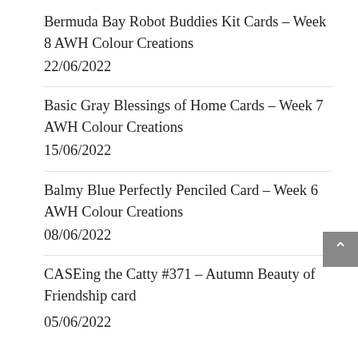Bermuda Bay Robot Buddies Kit Cards – Week 8 AWH Colour Creations
22/06/2022
Basic Gray Blessings of Home Cards – Week 7 AWH Colour Creations
15/06/2022
Balmy Blue Perfectly Penciled Card – Week 6 AWH Colour Creations
08/06/2022
CASEing the Catty #371 – Autumn Beauty of Friendship card
05/06/2022